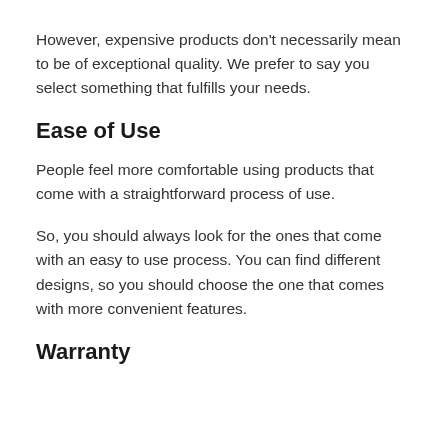However, expensive products don't necessarily mean to be of exceptional quality. We prefer to say you select something that fulfills your needs.
Ease of Use
People feel more comfortable using products that come with a straightforward process of use.
So, you should always look for the ones that come with an easy to use process. You can find different designs, so you should choose the one that comes with more convenient features.
Warranty